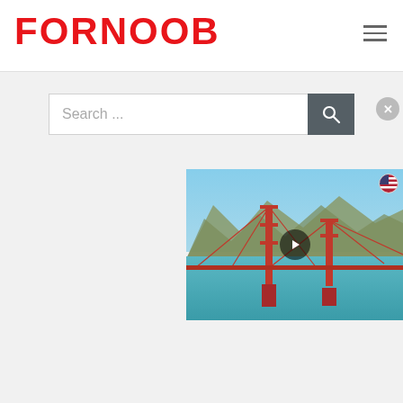FORNOOB
[Figure (screenshot): Search bar with placeholder text 'Search ...' and a dark search button with magnifying glass icon]
[Figure (photo): Golden Gate Bridge aerial photo with a video play button overlay, partially cropped on right side]